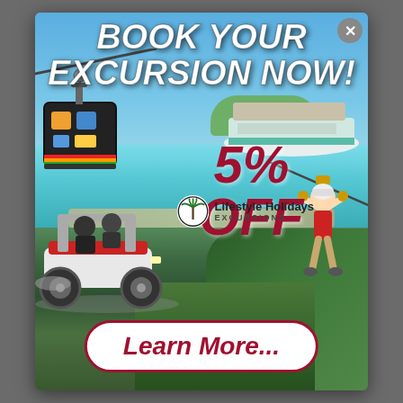[Figure (infographic): Travel excursion advertisement showing a cable car, tropical beach with boat, ATV riders, and a zip-liner. Central text reads 'BOOK YOUR EXCURSION NOW!' with '5% OFF' and 'Lifestyle Holidays Excursions' logo. Bottom button says 'Learn More...'. A close (X) button is in the top-right corner.]